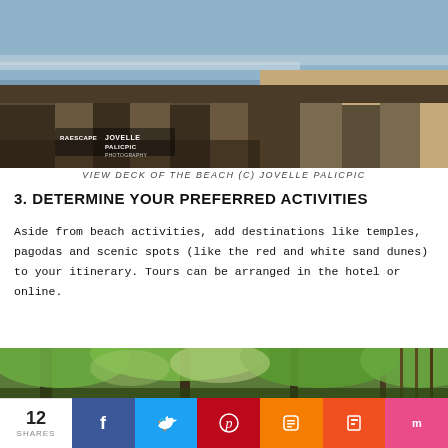[Figure (photo): Beach view deck with stone/concrete railing, ocean waves in background, watermark 'RAESCAPE JOVELLE PALICPIC PHOTOGRAPHY']
VIEW DECK OF THE BEACH (C) JOVELLE PALICPIC
3. DETERMINE YOUR PREFERRED ACTIVITIES
Aside from beach activities, add destinations like temples, pagodas and scenic spots (like the red and white sand dunes) to your itinerary. Tours can be arranged in the hotel or online.
[Figure (photo): Lush green forest/jungle scenery with trees and tropical vegetation]
12 SHARES | Facebook | Twitter | Pinterest | Blogger | Flipboard | Mix